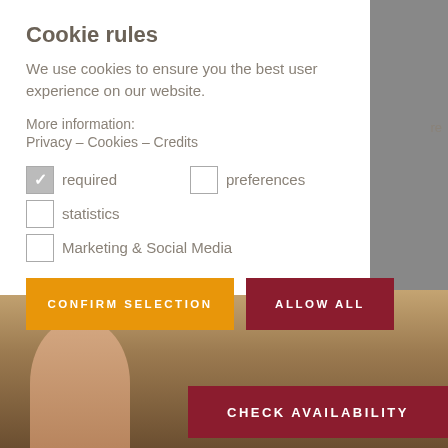Cookie rules
We use cookies to ensure you the best user experience on our website.
More information:
Privacy – Cookies – Credits
required (checked)
preferences
statistics
Marketing & Social Media
CONFIRM SELECTION
ALLOW ALL
CHECK AVAILABILITY
[Figure (photo): Background photo of people in a sauna/spa setting with wooden interior, partially obscured by the cookie consent modal]